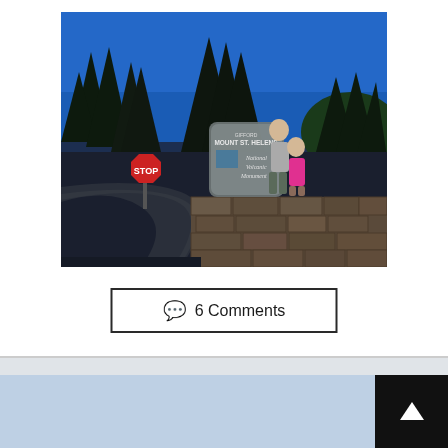[Figure (photo): Two people posing on a stone wall next to the Mount St. Helens National Volcanic Monument sign and a stop sign. Tall evergreen trees and a blue sky are in the background, with a curved road visible in the foreground.]
💬 6 Comments